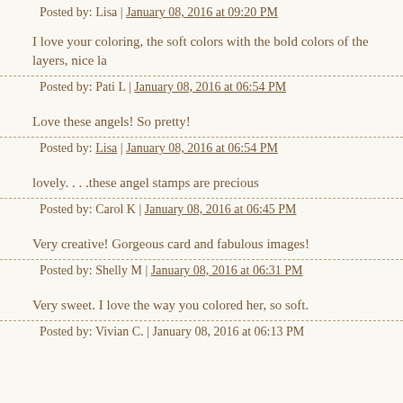Posted by: Lisa | January 08, 2016 at 09:20 PM
I love your coloring, the soft colors with the bold colors of the layers, nice la
Posted by: Pati L | January 08, 2016 at 06:54 PM
Love these angels! So pretty!
Posted by: Lisa | January 08, 2016 at 06:54 PM
lovely. . . .these angel stamps are precious
Posted by: Carol K | January 08, 2016 at 06:45 PM
Very creative! Gorgeous card and fabulous images!
Posted by: Shelly M | January 08, 2016 at 06:31 PM
Very sweet. I love the way you colored her, so soft.
Posted by: Vivian C. | January 08, 2016 at 06:13 PM